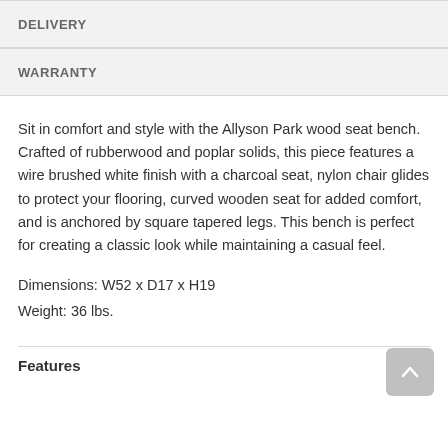DELIVERY
WARRANTY
Sit in comfort and style with the Allyson Park wood seat bench. Crafted of rubberwood and poplar solids, this piece features a wire brushed white finish with a charcoal seat, nylon chair glides to protect your flooring, curved wooden seat for added comfort, and is anchored by square tapered legs. This bench is perfect for creating a classic look while maintaining a casual feel.
Dimensions: W52 x D17 x H19
Weight: 36 lbs.
Features